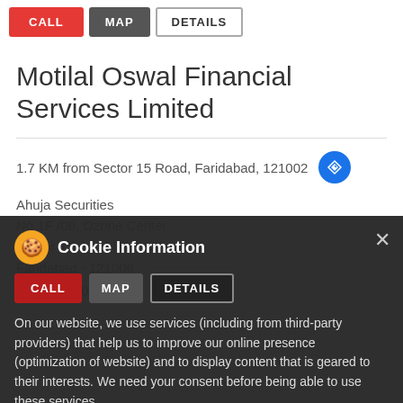[Figure (screenshot): Top action buttons: CALL (red), MAP (gray), DETAILS (outlined)]
Motilal Oswal Financial Services Limited
1.7 KM from Sector 15 Road, Faridabad, 121002
Ahuja Securities
No 1F /08, Ozone Center
Sector 12
Faridabad - 121006
Open until 08:00 PM
Cookie Information
On our website, we use services (including from third-party providers) that help us to improve our online presence (optimization of website) and to display content that is geared to their interests. We need your consent before being able to use these services.
Motilal Oswal Financial Services Limited
1.8 KM from Sector 15 Road, Faridabad, 121002